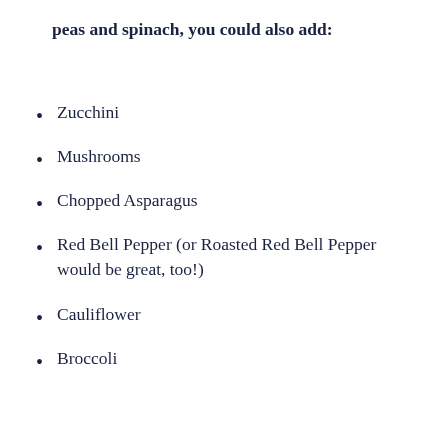peas and spinach, you could also add:
Zucchini
Mushrooms
Chopped Asparagus
Red Bell Pepper (or Roasted Red Bell Pepper would be great, too!)
Cauliflower
Broccoli